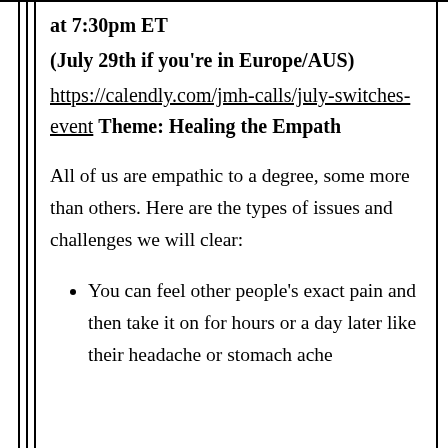at 7:30pm ET
(July 29th if you're in Europe/AUS)
https://calendly.com/jmh-calls/july-switches-event Theme: Healing the Empath
All of us are empathic to a degree, some more than others. Here are the types of issues and challenges we will clear:
You can feel other people's exact pain and then take it on for hours or a day later like their headache or stomach ache